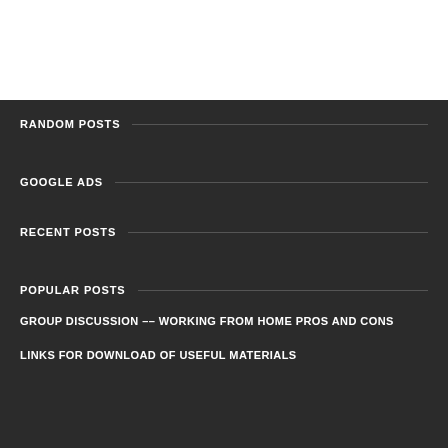RANDOM POSTS
GOOGLE ADS
RECENT POSTS
POPULAR POSTS
GROUP DISCUSSION –– WORKING FROM HOME PROS AND CONS
LINKS FOR DOWNLOAD OF USEFUL MATERIALS